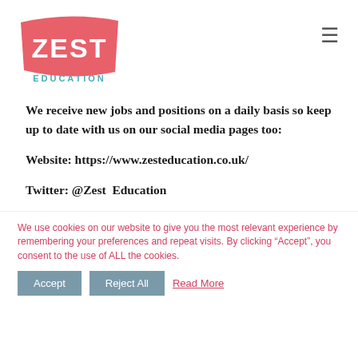[Figure (logo): Zest Education logo — pink banner with white 'ZEST' text and blue 'EDUCATION' text below]
We receive new jobs and positions on a daily basis so keep up to date with us on our social media pages too:
Website: https://www.zesteducation.co.uk/
Twitter: @Zest Education
We use cookies on our website to give you the most relevant experience by remembering your preferences and repeat visits. By clicking “Accept”, you consent to the use of ALL the cookies.